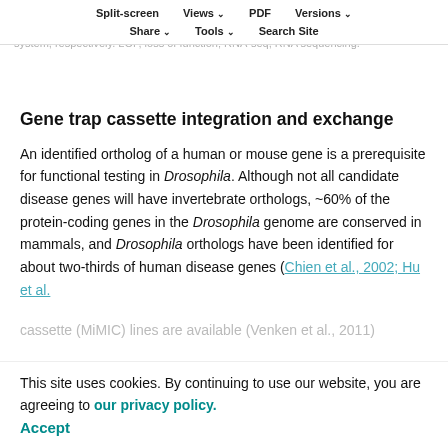Split-screen | Views | PDF | Versions | Share | Tools | Search Site
(Nagarkar-Jaiswal et al., 2015b). The GFP exon can also be used to knockdown the encoded transcript or protein by in vivo GFP interference (iGFPi) or the deGradFP system, respectively. LOF, loss of function; RNA-seq, RNA sequencing.
Gene trap cassette integration and exchange
An identified ortholog of a human or mouse gene is a prerequisite for functional testing in Drosophila. Although not all candidate disease genes will have invertebrate orthologs, ~60% of the protein-coding genes in the Drosophila genome are conserved in mammals, and Drosophila orthologs have been identified for about two-thirds of human disease genes (Chien et al., 2002; Hu et al.
This site uses cookies. By continuing to use our website, you are agreeing to our privacy policy.
Accept
cassette (MiMIC) lines are available (Venken et al., 2011)